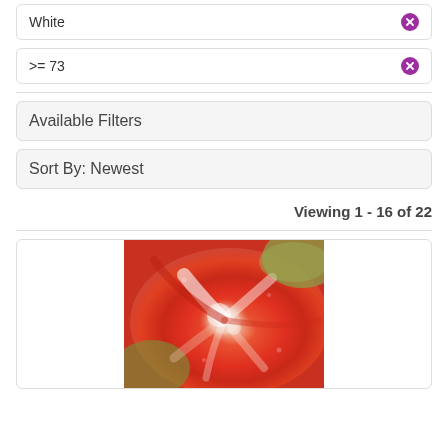White
>= 73
Available Filters
Sort By: Newest
Viewing 1 - 16 of 22
[Figure (photo): A colorful tie-dye fabric in swirling red, orange, white, and green tones, gathered at the center into a spiral fold.]